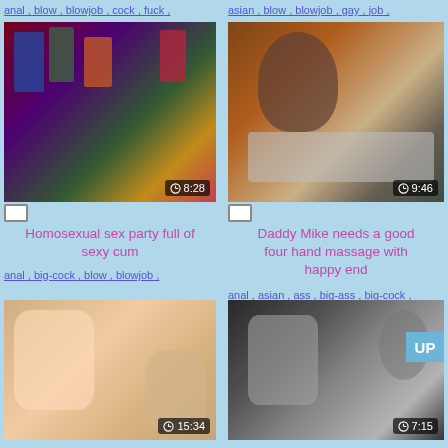anal , blow , blowjob , cock , fuck ,
asian , blow , blowjob , gay , job ,
[Figure (photo): Video thumbnail of a sex party scene, duration 8:28]
[Figure (photo): Video thumbnail of a massage scene, duration 9:46]
Homosexual sex party full of sexy cum
anal , big-cock , blow , blowjob ,
Daddy Mike needs a good four hand massage with happy end
anal , asian , ass , big-ass , big-cock ,
[Figure (photo): Video thumbnail of a couple scene, duration 15:34]
[Figure (photo): Video thumbnail of an Asian scene, duration 7:15]